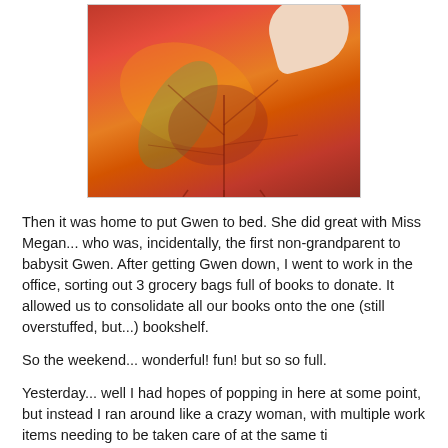[Figure (photo): A hand holding red and orange autumn leaves from above, with a grey pavement background visible. The leaves are bright red and orange, resembling a maple leaf.]
Then it was home to put Gwen to bed. She did great with Miss Megan... who was, incidentally, the first non-grandparent to babysit Gwen. After getting Gwen down, I went to work in the office, sorting out 3 grocery bags full of books to donate. It allowed us to consolidate all our books onto the one (still overstuffed, but...) bookshelf.
So the weekend... wonderful! fun! but so so full.
Yesterday... well I had hopes of popping in here at some point, but instead I ran around like a crazy woman, with multiple work items needing to be taken care of at the same time, It was a bit much. I never got the chance. For it to...